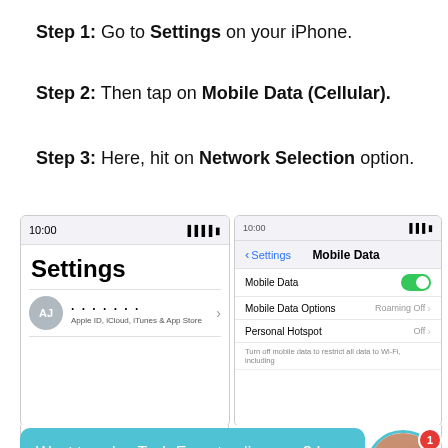Step 1: Go to Settings on your iPhone.
Step 2: Then tap on Mobile Data (Cellular).
Step 3: Here, hit on Network Selection option.
[Figure (screenshot): Two iPhone screenshots side by side. Left shows the Settings main screen. Right shows the Mobile Data settings screen with Mobile Data toggle on, Mobile Data Options (Roaming Off), Personal Hotspot (Off), and Network Selection option visible at bottom.]
Want to ask a Tech Expert online now? I can connect you ...